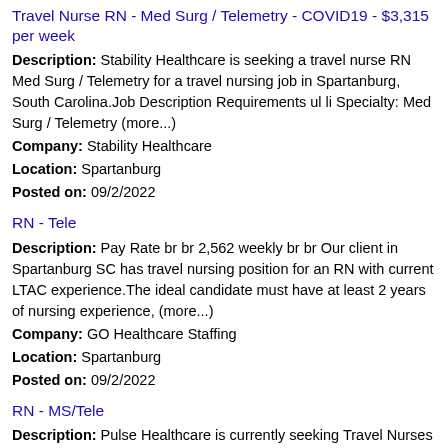Travel Nurse RN - Med Surg / Telemetry - COVID19 - $3,315 per week
Description: Stability Healthcare is seeking a travel nurse RN Med Surg / Telemetry for a travel nursing job in Spartanburg, South Carolina.Job Description Requirements ul li Specialty: Med Surg / Telemetry (more...)
Company: Stability Healthcare
Location: Spartanburg
Posted on: 09/2/2022
RN - Tele
Description: Pay Rate br br 2,562 weekly br br Our client in Spartanburg SC has travel nursing position for an RN with current LTAC experience.The ideal candidate must have at least 2 years of nursing experience, (more...)
Company: GO Healthcare Staffing
Location: Spartanburg
Posted on: 09/2/2022
RN - MS/Tele
Description: Pulse Healthcare is currently seeking Travel Nurses for multiple positions in locations throughout the United
Company: Pulse Healthcare Services
Location: Spartanburg